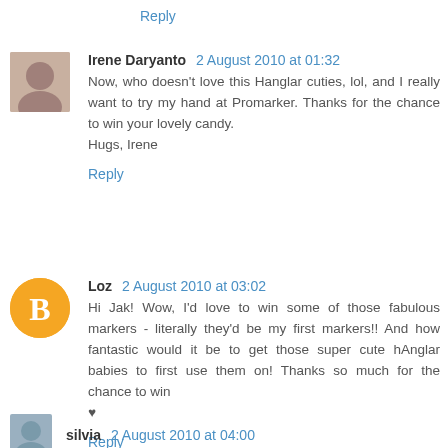Reply
Irene Daryanto  2 August 2010 at 01:32
Now, who doesn't love this Hanglar cuties, lol, and I really want to try my hand at Promarker. Thanks for the chance to win your lovely candy.
Hugs, Irene
Reply
Loz  2 August 2010 at 03:02
Hi Jak! Wow, I'd love to win some of those fabulous markers - literally they'd be my first markers!! And how fantastic would it be to get those super cute hAnglar babies to first use them on! Thanks so much for the chance to win
♥
Reply
silvia  2 August 2010 at 04:00